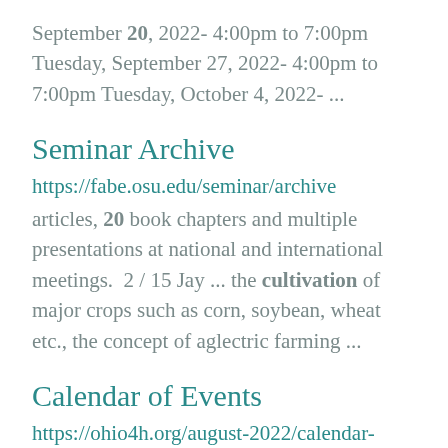September 20, 2022- 4:00pm to 7:00pm Tuesday, September 27, 2022- 4:00pm to 7:00pm Tuesday, October 4, 2022- ...
Seminar Archive
https://fabe.osu.edu/seminar/archive articles, 20 book chapters and multiple presentations at national and international meetings.  2 / 15 Jay ... the cultivation of major crops such as corn, soybean, wheat etc., the concept of aglectric farming ...
Calendar of Events
https://ohio4h.org/august-2022/calendar-events